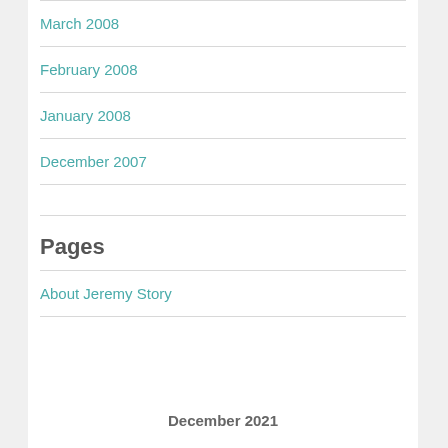March 2008
February 2008
January 2008
December 2007
Pages
About Jeremy Story
December 2021